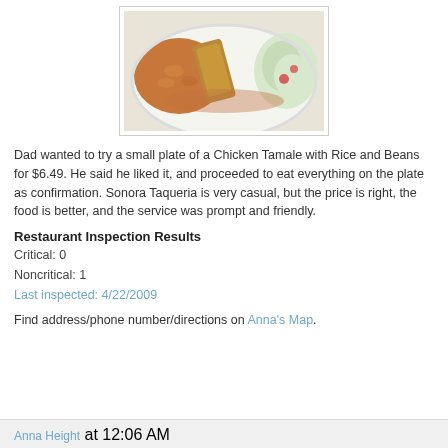[Figure (photo): A plate of food showing a Chicken Tamale with rice and beans on a white plate]
Dad wanted to try a small plate of a Chicken Tamale with Rice and Beans for $6.49. He said he liked it, and proceeded to eat everything on the plate as confirmation. Sonora Taqueria is very casual, but the price is right, the food is better, and the service was prompt and friendly.
Restaurant Inspection Results
Critical: 0
Noncritical: 1
Last inspected: 4/22/2009
Find address/phone number/directions on Anna's Map.
Anna Height at 12:06 AM